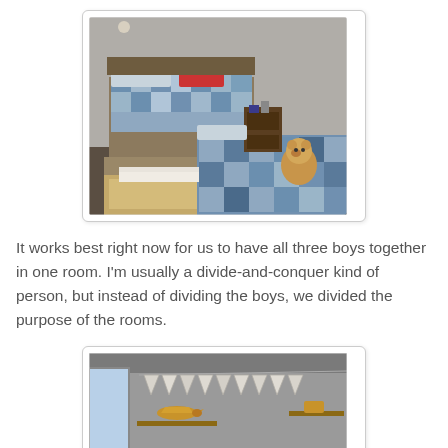[Figure (photo): A children's bedroom with two beds covered in blue patchwork quilts. A teddy bear sits on the closer bed. A nightstand with items is between the beds. The perspective is from a low angle showing the foot of the nearest bed which has drawers underneath.]
It works best right now for us to have all three boys together in one room. I'm usually a divide-and-conquer kind of person, but instead of dividing the boys, we divided the purpose of the rooms.
[Figure (photo): A children's room with gray walls showing pennant banner bunting in white/gray triangles strung near the ceiling. A wooden toy airplane is visible on a shelf, and there is a window on the left side.]